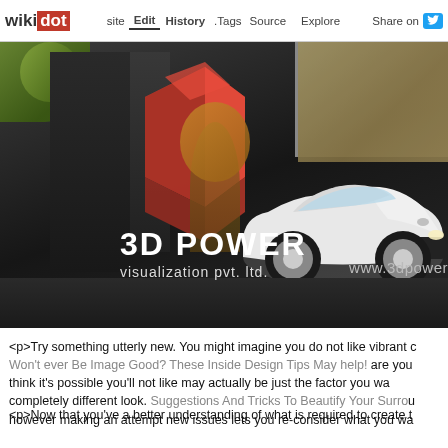wikidot | site | Edit | History | Tags | Source | Explore | Share on Twitter
[Figure (photo): 3D Power Visualization Pvt. Ltd. banner image showing a luxury white car, architectural building rendering with dark walls, red 3D logo shape, trees, and company name text overlay. URL www.3dpower visible on right.]
<p>Try something utterly new. You might imagine you do not like vibrant colors. Won't ever Be Image Good? These Inside Design Tips May help! are you think it's possible you'll not like may actually be just the factor you wa completely different look. Suggestions And Tricks To Beautify Your Surrou however making an attempt new issues lets you re-consider what you wa
<p>Now that you've a better understanding of what is required to create t